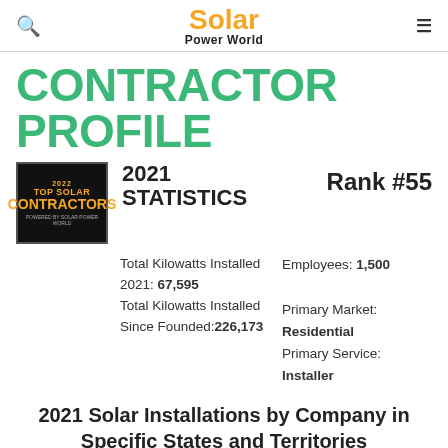Solar Power World
CONTRACTOR PROFILE
2021 STATISTICS  Rank #55
Total Kilowatts Installed 2021: 67,595  Employees: 1,500
Total Kilowatts Installed Since Founded: 226,173  Primary Market: Residential
Primary Service: Installer
2021 Solar Installations by Company in Specific States and Territories